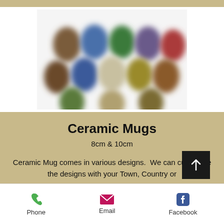[Figure (photo): A blurred/defocused photograph showing multiple colorful ceramic mugs arranged in rows — various colors including blue, green, red, yellow, brown — displayed on a white background]
Ceramic Mugs
8cm & 10cm
Ceramic Mug comes in various designs.  We can customise the designs with your Town, Country or
Phone   Email   Facebook